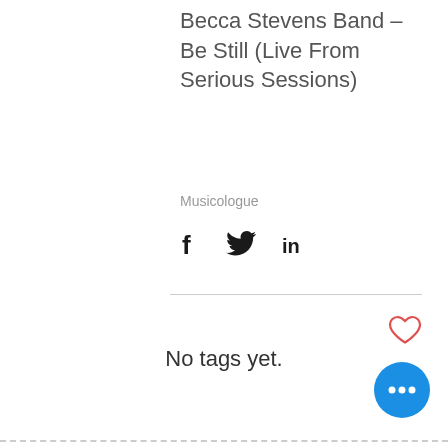Becca Stevens Band – Be Still (Live From Serious Sessions)
Musicologue
[Figure (infographic): Social share icons: Facebook, Twitter, LinkedIn]
[Figure (infographic): Heart/like icon (outlined, red/pink)]
No tags yet.
[Figure (infographic): Blue circular floating action button with three white dots (more options)]